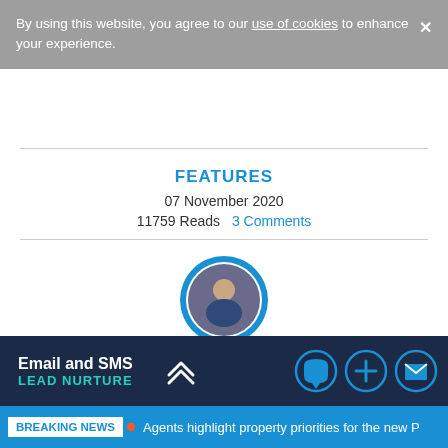By using this website, you agree to our use of cookies to enhance your experience.
FEATURES
07 November 2020
11759 Reads  3 Comments
[Figure (photo): Author avatar photo of Nat Daniels in a blue speech bubble circle]
By Nat Daniels
CEO, Angels Media
Email and SMS LEAD NURTURE
BREAKING NEWS  Agents highlight property priorities for the new P